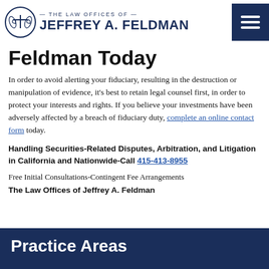THE LAW OFFICES OF JEFFREY A. FELDMAN
Feldman Today
In order to avoid alerting your fiduciary, resulting in the destruction or manipulation of evidence, it's best to retain legal counsel first, in order to protect your interests and rights. If you believe your investments have been adversely affected by a breach of fiduciary duty, complete an online contact form today.
Handling Securities-Related Disputes, Arbitration, and Litigation
in California and Nationwide-Call 415-413-8955
Free Initial Consultations-Contingent Fee Arrangements
The Law Offices of Jeffrey A. Feldman
Practice Areas